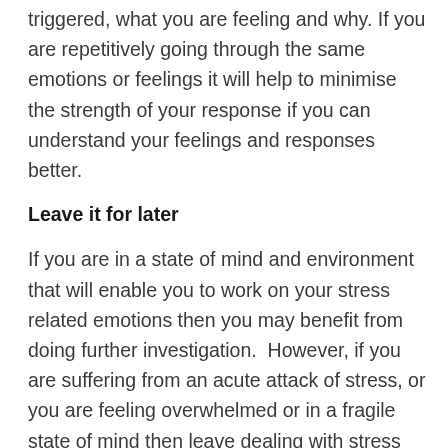triggered, what you are feeling and why. If you are repetitively going through the same emotions or feelings it will help to minimise the strength of your response if you can understand your feelings and responses better.
Leave it for later
If you are in a state of mind and environment that will enable you to work on your stress related emotions then you may benefit from doing further investigation.  However, if you are suffering from an acute attack of stress, or you are feeling overwhelmed or in a fragile state of mind then leave dealing with stress for later. Try to remove yourself from the stressful situation, conversation or encounter that has